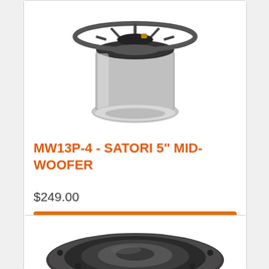[Figure (photo): Top-view photo of a Satori 5-inch mid-woofer speaker showing the magnet structure and back of the driver]
MW13P-4 - SATORI 5" MID-WOOFER
$249.00
Add to Cart
[Figure (photo): Front-view photo of a round speaker driver, showing the cone and surround from the front]